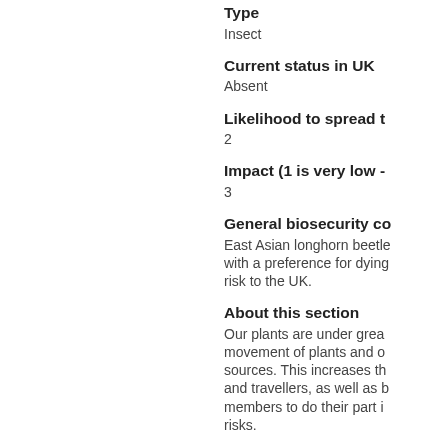Type
Insect
Current status in UK
Absent
Likelihood to spread t
2
Impact (1 is very low -
3
General biosecurity co
East Asian longhorn beetle with a preference for dying risk to the UK.
About this section
Our plants are under great movement of plants and o sources. This increases th and travellers, as well as b members to do their part i risks.
Traveling or importing plan
Suspected outbreak? Clic